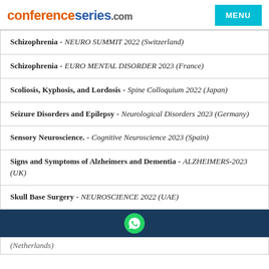conferenceseries.com | MENU
Schizophrenia - NEURO SUMMIT 2022 (Switzerland)
Schizophrenia - EURO MENTAL DISORDER 2023 (France)
Scoliosis, Kyphosis, and Lordosis - Spine Colloquium 2022 (Japan)
Seizure Disorders and Epilepsy - Neurological Disorders 2023 (Germany)
Sensory Neuroscience. - Cognitive Neuroscience 2023 (Spain)
Signs and Symptoms of Alzheimers and Dementia - ALZHEIMERS-2023 (UK)
Skull Base Surgery - NEUROSCIENCE 2022 (UAE)
(Netherlands)